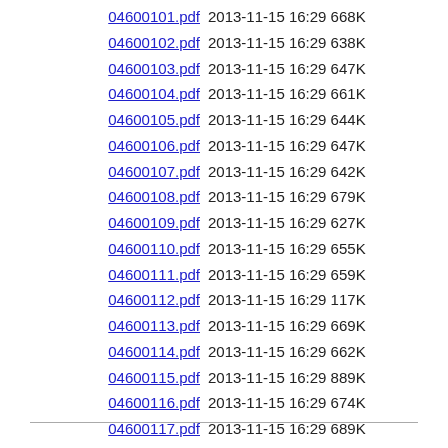04600101.pdf   2013-11-15 16:29 668K
04600102.pdf   2013-11-15 16:29 638K
04600103.pdf   2013-11-15 16:29 647K
04600104.pdf   2013-11-15 16:29 661K
04600105.pdf   2013-11-15 16:29 644K
04600106.pdf   2013-11-15 16:29 647K
04600107.pdf   2013-11-15 16:29 642K
04600108.pdf   2013-11-15 16:29 679K
04600109.pdf   2013-11-15 16:29 627K
04600110.pdf   2013-11-15 16:29 655K
04600111.pdf   2013-11-15 16:29 659K
04600112.pdf   2013-11-15 16:29 117K
04600113.pdf   2013-11-15 16:29 669K
04600114.pdf   2013-11-15 16:29 662K
04600115.pdf   2013-11-15 16:29 889K
04600116.pdf   2013-11-15 16:29 674K
04600117.pdf   2013-11-15 16:29 689K
04600118.pdf   2013-11-15 16:29 701K
04600119.pdf   2013-11-15 16:29 724K